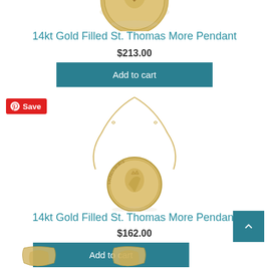[Figure (photo): Top portion of a gold filled St. Thomas More pendant medallion on white background]
14kt Gold Filled St. Thomas More Pendant
$213.00
Add to cart
[Figure (photo): 14kt gold filled St. Thomas More pendant on a gold chain, circular medallion with figure engraved, with Pinterest Save badge overlay]
14kt Gold Filled St. Thomas More Pendant
$162.00
Add to cart
[Figure (photo): Partial view of two smaller gold pendants at bottom of page]